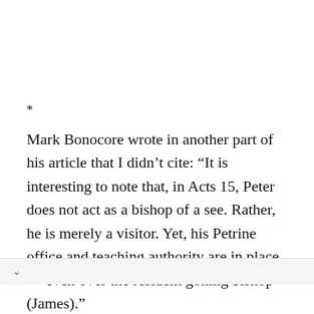*
Mark Bonocore wrote in another part of his article that I didn’t cite: “It is interesting to note that, in Acts 15, Peter does not act as a bishop of a see. Rather, he is merely a visitor. Yet, his Petrine office and teaching authority are in place — even over the resident governing bishop (James).”